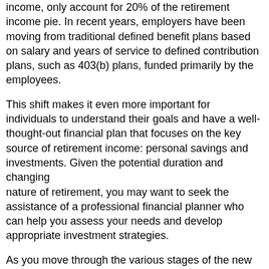income, only account for 20% of the retirement income pie. In recent years, employers have been moving from traditional defined benefit plans based on salary and years of service to defined contribution plans, such as 403(b) plans, funded primarily by the employees.
This shift makes it even more important for individuals to understand their goals and have a well-thought-out financial plan that focuses on the key source of retirement income: personal savings and investments. Given the potential duration and changing nature of retirement, you may want to seek the assistance of a professional financial planner who can help you assess your needs and develop appropriate investment strategies.
As you move through the various stages of the new retirement, perhaps working at times and resting at others, your plan may require adjustments along the way. A professional advisor can help you monitor your plan and make changes when necessary. Among the factors you'll need to consider:
Time — You can project periods of retirement, reeducation, and full employment. Then concentrate on a plan to fund each of the